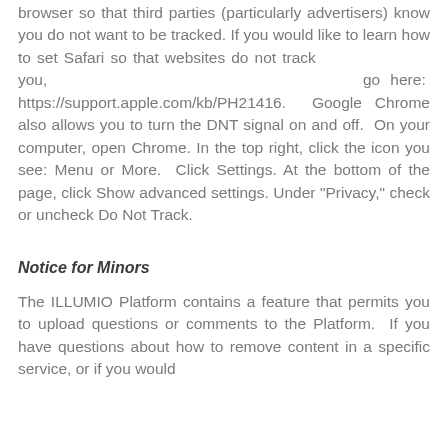browser so that third parties (particularly advertisers) know you do not want to be tracked. If you would like to learn how to set Safari so that websites do not track you, go here: https://support.apple.com/kb/PH21416. Google Chrome also allows you to turn the DNT signal on and off. On your computer, open Chrome. In the top right, click the icon you see: Menu or More. Click Settings. At the bottom of the page, click Show advanced settings. Under "Privacy," check or uncheck Do Not Track.
Notice for Minors
The ILLUMIO Platform contains a feature that permits you to upload questions or comments to the Platform. If you have questions about how to remove content in a specific service, or if you would